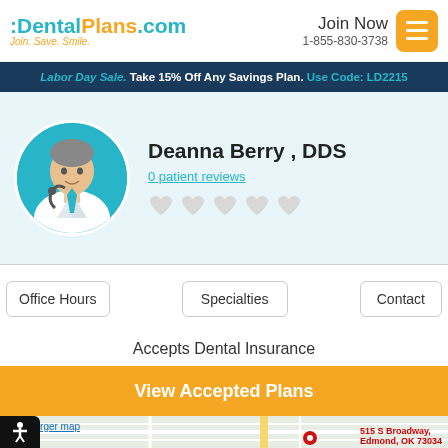[Figure (logo): DentalPlans.com logo with tagline Join. Save. Smile.]
Join Now
1-855-830-3738
[Figure (other): Orange hamburger menu button]
Labor Day Sale. Take 15% Off Any Savings Plan. Use Code: LD2215
[Figure (illustration): Dentist avatar illustration in teal circle]
Deanna Berry , DDS
0 patient reviews
[Figure (other): Five empty gray heart rating icons]
Office Hours
Specialties
Contact
Accepts Dental Insurance
View Accepted Plans
[Figure (map): Google Maps screenshot showing area around 515 S Broadway, Edmond, OK 73034]
View larger map
515 S Broadway,
Edmond, OK 73034